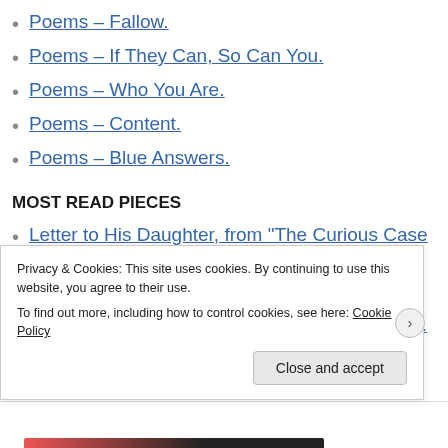Poems – Fallow.
Poems – If They Can, So Can You.
Poems – Who You Are.
Poems – Content.
Poems – Blue Answers.
MOST READ PIECES
Letter to His Daughter, from "The Curious Case of Benjamin Button"
The Passing at Highway 10 - Part 19
Theatrical Thursday - Double Indemnity (1944).
Theatrical Thursday - [partially visible]
Privacy & Cookies: This site uses cookies. By continuing to use this website, you agree to their use.
To find out more, including how to control cookies, see here: Cookie Policy
Close and accept